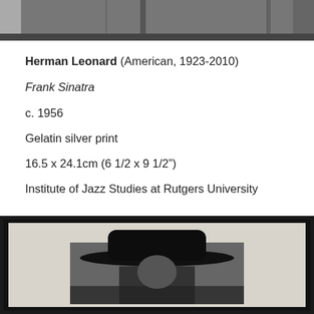[Figure (photo): Black and white photograph (top portion cropped), showing partial view of a figure]
Herman Leonard (American, 1923-2010)
Frank Sinatra
c. 1956
Gelatin silver print
16.5 x 24.1cm (6 1/2 x 9 1/2")
Institute of Jazz Studies at Rutgers University
[Figure (photo): Black and white photograph in a dark frame showing a figure wearing a wide-brimmed hat, with white matting around the inner print]